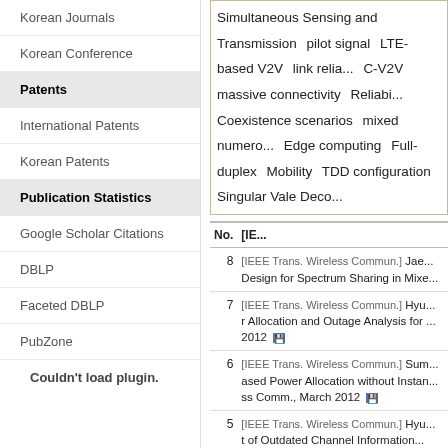Korean Journals
Korean Conference
Patents
International Patents
Korean Patents
Publication Statistics
Google Scholar Citations
DBLP
Faceted DBLP
PubZone
Couldn't load plugin.
Simultaneous Sensing and Transmission   pilot signal   LTE-based V2V   link relia...   C-V2V   massive connectivity   Reliabi...   Coexistence scenarios   mixed numero...   Edge computing   Full-duplex   Mobility   TDD configuration   Singular Vale Deco...
| No. | [IE... |
| --- | --- |
| 8 | [IEEE Trans. Wireless Commun.]  Jae... Design for Spectrum Sharing in Mixe... |
| 7 | [IEEE Trans. Wireless Commun.]  Hyu... r Allocation and Outage Analysis for ... 2012 |
| 6 | [IEEE Trans. Wireless Commun.]  Sum... ased Power Allocation without Instan... ss Comm., March 2012 |
| 5 | [IEEE Trans. Wireless Commun.]  Hyu... t of Outdated Channel Information... |